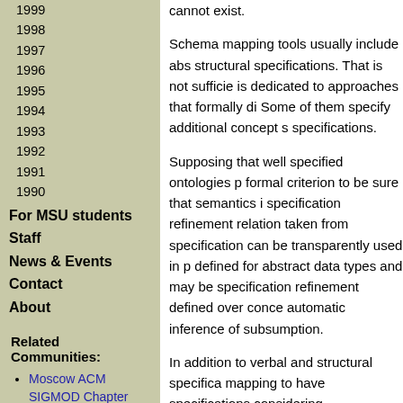1999
1998
1997
1996
1995
1994
1993
1992
1991
1990
For MSU students
Staff
News & Events
Contact
About
Related Communities:
Moscow ACM SIGMOD Chapter
ADBIS
RCDL
RVO
Ontological Modeling
cannot exist.
Schema mapping tools usually include abs structural specifications. That is not sufficie is dedicated to approaches that formally di Some of them specify additional concept s specifications.
Supposing that well specified ontologies p formal criterion to be sure that semantics i specification refinement relation taken from specification can be transparently used in defined for abstract data types and may be specification refinement defined over conce automatic inference of subsumption.
In addition to verbal and structural specifica mapping to have specifications considering
One of such approaches is using common ontologies (as well as every relation or pro metaontology class or of a class expressio concepts are sorted into classes by their s in the mapping task, subsuming (refining) same class of the metaontology with subs concepts and specifications in terms of me different levels of classification hierarchy. M conceptual modeling and become more ac